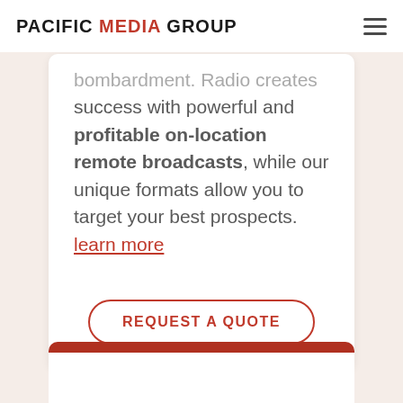PACIFIC MEDIA GROUP
bombardment. Radio creates success with powerful and profitable on-location remote broadcasts, while our unique formats allow you to target your best prospects. learn more
REQUEST A QUOTE